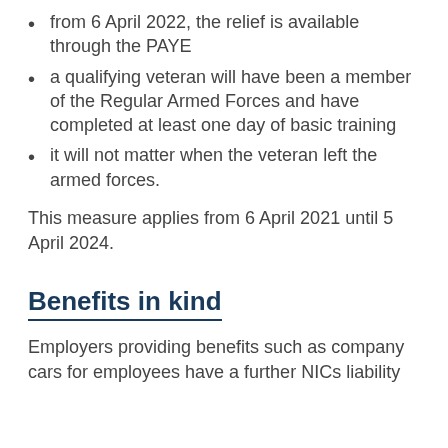from 6 April 2022, the relief is available through the PAYE
a qualifying veteran will have been a member of the Regular Armed Forces and have completed at least one day of basic training
it will not matter when the veteran left the armed forces.
This measure applies from 6 April 2021 until 5 April 2024.
Benefits in kind
Employers providing benefits such as company cars for employees have a further NICs liability